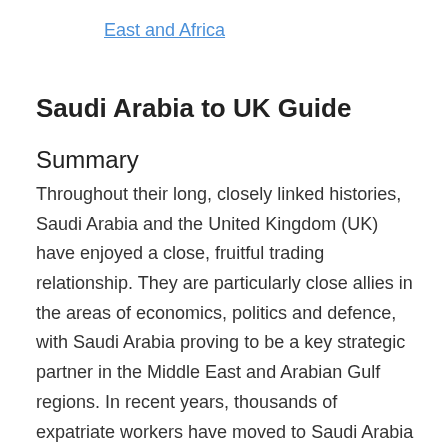East and Africa
Saudi Arabia to UK Guide
Summary
Throughout their long, closely linked histories, Saudi Arabia and the United Kingdom (UK) have enjoyed a close, fruitful trading relationship. They are particularly close allies in the areas of economics, politics and defence, with Saudi Arabia proving to be a key strategic partner in the Middle East and Arabian Gulf regions. In recent years, thousands of expatriate workers have moved to Saudi Arabia for employment opportunities, which has caused cross-border money flows between the two countries.